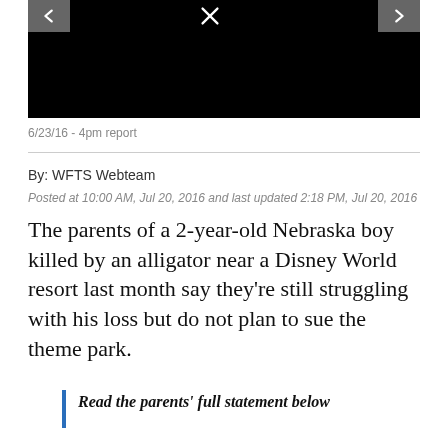[Figure (screenshot): Black video player area with left arrow, X close button, and right arrow navigation controls]
6/23/16 - 4pm report
By: WFTS Webteam
Posted at 10:00 AM, Jul 20, 2016 and last updated 2:18 PM, Jul 20, 2016
The parents of a 2-year-old Nebraska boy killed by an alligator near a Disney World resort last month say they’re still struggling with his loss but do not plan to sue the theme park.
Read the parents’ full statement below